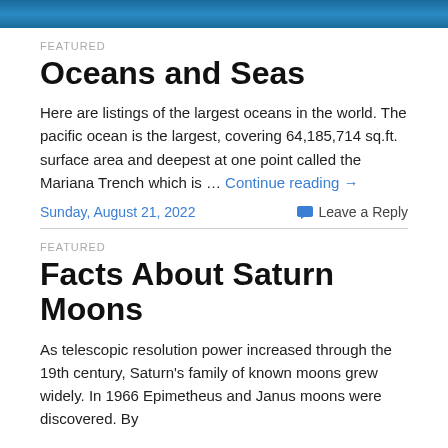[Figure (photo): Ocean/sea water surface image cropped at top]
FEATURED
Oceans and Seas
Here are listings of the largest oceans in the world. The pacific ocean is the largest, covering 64,185,714 sq.ft. surface area and deepest at one point called the Mariana Trench which is … Continue reading →
Sunday, August 21, 2022   Leave a Reply
FEATURED
Facts About Saturn Moons
As telescopic resolution power increased through the 19th century, Saturn's family of known moons grew widely. In 1966 Epimetheus and Janus moons were discovered. By